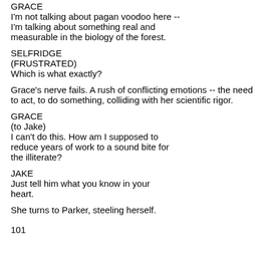GRACE
I'm not talking about pagan voodoo here -- I'm talking about something real and measurable in the biology of the forest.
SELFRIDGE
(FRUSTRATED)
Which is what exactly?
Grace's nerve fails. A rush of conflicting emotions -- the need to act, to do something, colliding with her scientific rigor.
GRACE
(to Jake)
I can't do this. How am I supposed to reduce years of work to a sound bite for the illiterate?
JAKE
Just tell him what you know in your heart.
She turns to Parker, steeling herself.
101